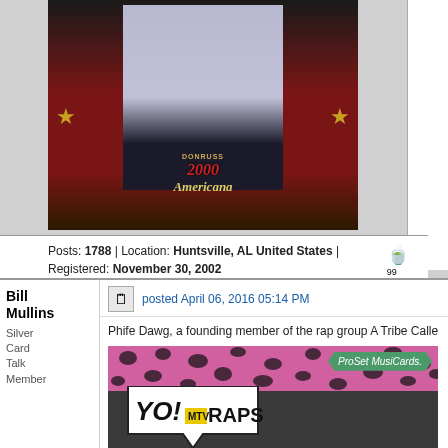[Figure (photo): Donruss Americana trading card showing a person in a suit on a red carpet background with gold star decorations and the Americana logo]
Posts: 1788 | Location: Huntsville, AL United States | Registered: November 30, 2002
Bill Mullins
Silver Card Talk Member
posted April 06, 2016 05:14 PM
Phife Dawg, a founding member of the rap group A Tribe Calle
[Figure (photo): ProSet MusiCards Yo! MTV Raps trading card with pink leopard print background and Yo! MTV Raps logo]